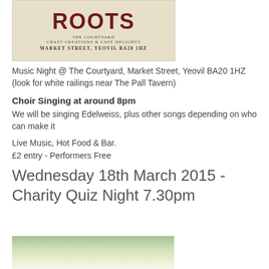[Figure (logo): Roots logo with 'The Courtyard Craft Creations & Cafe Delights, Market Street, Yeovil BA20 1HZ']
Music Night @ The Courtyard, Market Street, Yeovil BA20 1HZ
(look for white railings near The Pall Tavern)
Choir Singing at around 8pm
We will be singing Edelweiss, plus other songs depending on who can make it
Live Music, Hot Food & Bar.
£2 entry - Performers Free
Wednesday 18th March 2015 - Charity Quiz Night 7.30pm
[Figure (photo): Outdoor photo, partially visible at bottom of page]